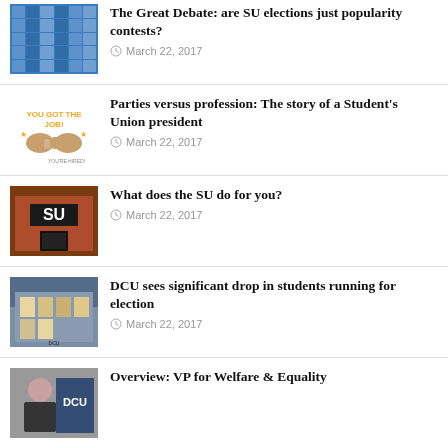[Figure (photo): Blue tiled pattern image]
The Great Debate: are SU elections just popularity contests?
March 22, 2017
[Figure (illustration): You Got The Job illustration with handshake]
Parties versus profession: The story of a Student’s Union president
March 22, 2017
[Figure (photo): SU building exterior photo]
What does the SU do for you?
March 22, 2017
[Figure (photo): DCU building with election posters]
DCU sees significant drop in students running for election
March 22, 2017
[Figure (photo): Person with DCU logo]
Overview: VP for Welfare & Equality